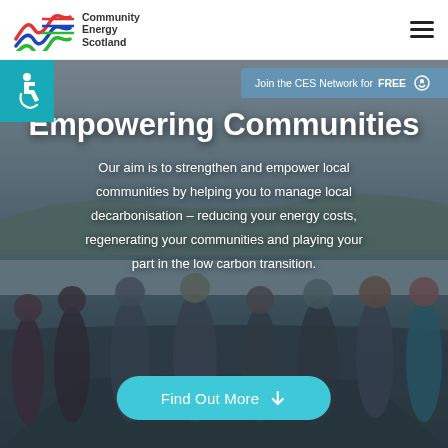[Figure (logo): Community Energy Scotland logo with coloured wave motif and text]
[Figure (photo): Group of people standing outdoors near water with a historic building in background, overcast sky]
[Figure (infographic): Teal accessibility (wheelchair) icon banner on left side]
Join the CES Network for FREE
Empowering Communities
Our aim is to strengthen and empower local communities by helping you to manage local decarbonisation – reducing your energy costs, regenerating your communities and playing your part in the low carbon transition.
Find Out More ↓